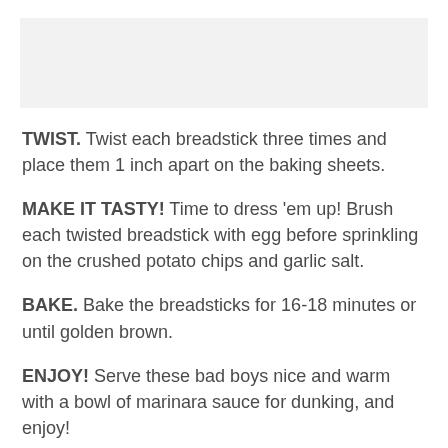[Figure (photo): Image placeholder at top of page]
TWIST. Twist each breadstick three times and place them 1 inch apart on the baking sheets.
MAKE IT TASTY! Time to dress 'em up! Brush each twisted breadstick with egg before sprinkling on the crushed potato chips and garlic salt.
BAKE. Bake the breadsticks for 16-18 minutes or until golden brown.
ENJOY! Serve these bad boys nice and warm with a bowl of marinara sauce for dunking, and enjoy!